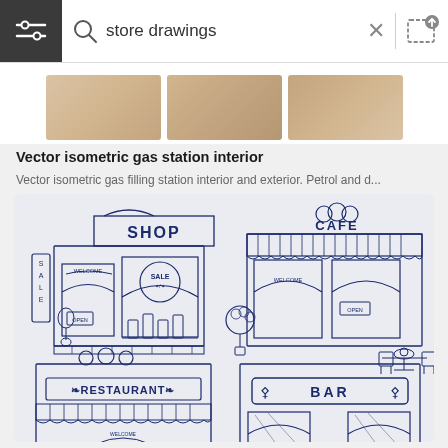[Figure (screenshot): Search bar UI with menu icon (hamburger), search icon, text 'store drawings', close X button, and image upload icon]
[Figure (screenshot): Top portion showing partial isometric store images]
Vector isometric gas station interior
Vector isometric gas filling station interior and exterior. Petrol and d...
[Figure (illustration): Line drawing illustrations of storefronts: SHOP with SALE sign and OPEN sign, CAFE with WELCOME and OPEN sign, RESTAURANT, and BAR]